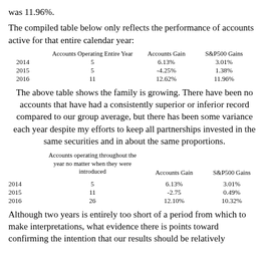was 11.96%.
The compiled table below only reflects the performance of accounts active for that entire calendar year:
|  | Accounts Operating Entire Year | Accounts Gain | S&P500 Gains |
| --- | --- | --- | --- |
| 2014 | 5 | 6.13% | 3.01% |
| 2015 | 5 | -4.25% | 1.38% |
| 2016 | 11 | 12.62% | 11.96% |
The above table shows the family is growing. There have been no accounts that have had a consistently superior or inferior record compared to our group average, but there has been some variance each year despite my efforts to keep all partnerships invested in the same securities and in about the same proportions.
|  | Accounts operating throughout the year no matter when they were introduced | Accounts Gain | S&P500 Gains |
| --- | --- | --- | --- |
| 2014 | 5 | 6.13% | 3.01% |
| 2015 | 11 | -2.75 | 0.49% |
| 2016 | 26 | 12.10% | 10.32% |
Although two years is entirely too short of a period from which to make interpretations, what evidence there is points toward confirming the intention that our results should be relatively